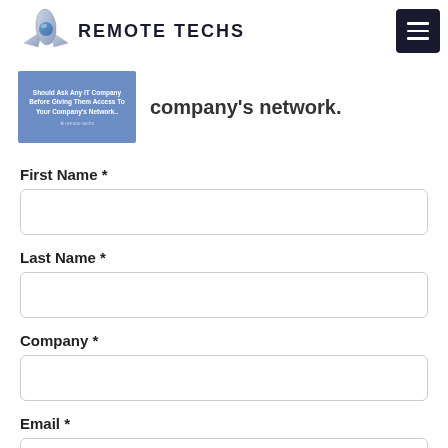[Figure (logo): Remote Techs logo with stylized rocket/arrow graphic and hamburger menu button]
[Figure (photo): Partial book cover thumbnail with text 'Should Ask Any IT Company Before Giving Them Access To Your Company's Network.' in blue, and partial heading text 'company's network.']
First Name *
Last Name *
Company *
Email *